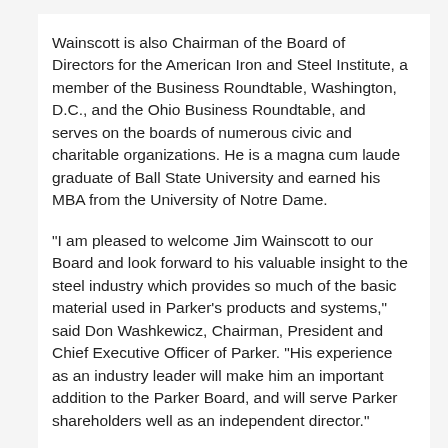Wainscott is also Chairman of the Board of Directors for the American Iron and Steel Institute, a member of the Business Roundtable, Washington, D.C., and the Ohio Business Roundtable, and serves on the boards of numerous civic and charitable organizations. He is a magna cum laude graduate of Ball State University and earned his MBA from the University of Notre Dame.
"I am pleased to welcome Jim Wainscott to our Board and look forward to his valuable insight to the steel industry which provides so much of the basic material used in Parker's products and systems," said Don Washkewicz, Chairman, President and Chief Executive Officer of Parker. "His experience as an industry leader will make him an important addition to the Parker Board, and will serve Parker shareholders well as an independent director."
With annual sales exceeding $12 billion in fiscal year 2008, Parker Hannifin is the world's leading diversified manufacturer of motion and control technologies and systems, providing precision-engineered solutions for a wide variety of mobile, industrial and aerospace markets. The company employs approximately 62,000 people in 48 countries around the world. Parker has increased its annual dividends paid to shareholders for 53 consecutive years, among the top five longest-running